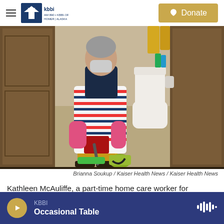KBBI AM 890 Homer Alaska — Donate button
[Figure (photo): Person wearing striped apron, yellow pants, and pink gloves, mopping a bathroom floor. A toilet is visible in the background.]
Brianna Soukup / Kaiser Health News / Kaiser Health News
Kathleen McAuliffe, a part-time home care worker for Catholic Charities outside Portland, Maine, visits two clients a day. She helps with their
KBBI — Occasional Table